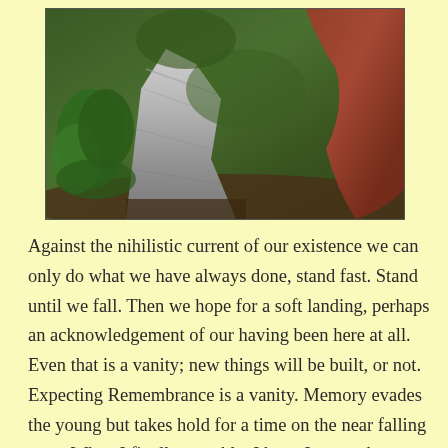[Figure (photo): Photograph of a large weathered fallen log or tree stump with grayish-white fibrous wood texture, surrounded by green ferns and forest vegetation. A reddish-brown curved shape (likely part of a redwood tree) is visible in the upper right. Forest floor with leaf litter visible.]
Against the nihilistic current of our existence we can only do what we have always done, stand fast. Stand until we fall. Then we hope for a soft landing, perhaps an acknowledgement of our having been here at all. Even that is a vanity; new things will be built, or not. Expecting Remembrance is a vanity. Memory evades the young but takes hold for a time on the near falling ones. When I finally crumble, I hope I remember to laugh at the absurdity of the rising and falling